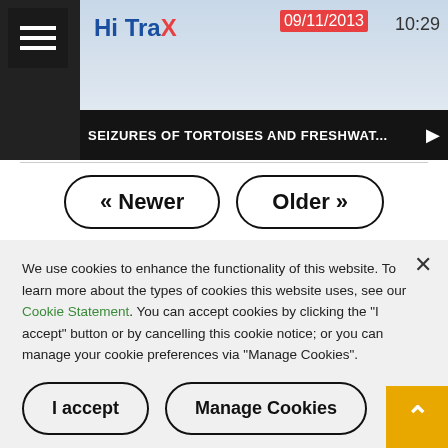[Figure (screenshot): Video thumbnail showing HiTraX interface with date 09/11/2013 and time 10:29]
SEIZURES OF TORTOISES AND FRESHWAT...
« Newer
Older »
We use cookies to enhance the functionality of this website. To learn more about the types of cookies this website uses, see our Cookie Statement. You can accept cookies by clicking the "I accept" button or by cancelling this cookie notice; or you can manage your cookie preferences via "Manage Cookies".
I accept
Manage Cookies